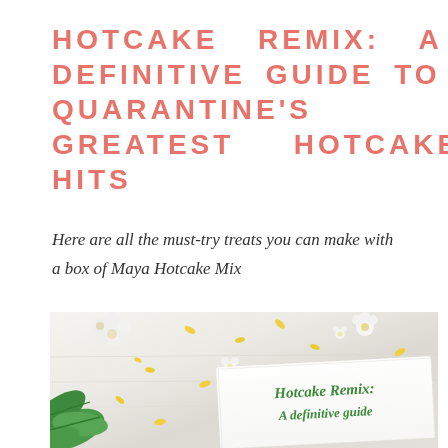HOTCAKE REMIX: A DEFINITIVE GUIDE TO QUARANTINE'S GREATEST HOTCAKE HITS
Here are all the must-try treats you can make with a box of Maya Hotcake Mix
[Figure (photo): Flat lay photo of white flowers, green leaves, and scattered yellow petals on a white wooden surface, with a white paper card overlay showing 'Hotcake Remix: A definitive guide' in green cursive script]